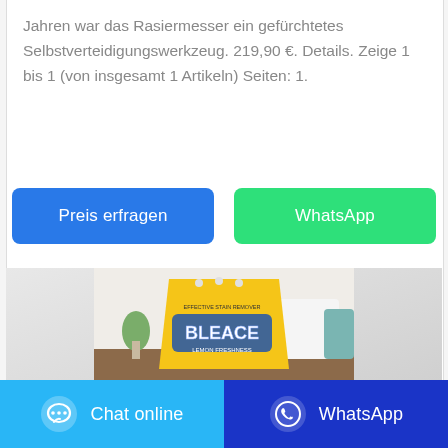Jahren war das Rasiermesser ein gefürchtetes Selbstverteidigungswerkzeug. 219,90 €. Details. Zeige 1 bis 1 (von insgesamt 1 Artikeln) Seiten: 1.
[Figure (other): Two buttons side by side: 'Preis erfragen' (blue) and 'WhatsApp' (green)]
[Figure (photo): Product photo showing a yellow bag of BLEACE lemon freshness stain remover on a table in a bright room]
[Figure (other): Footer bar with two buttons: 'Chat online' (light blue with chat icon) and 'WhatsApp' (dark blue with WhatsApp icon)]